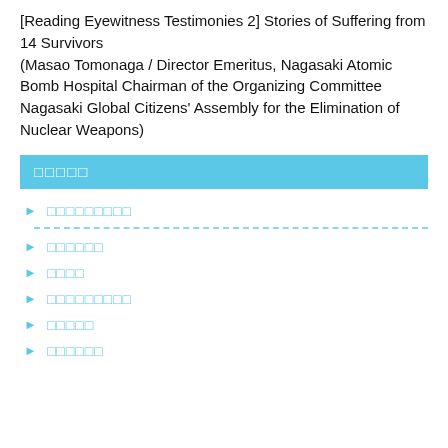[Reading Eyewitness Testimonies 2] Stories of Suffering from 14 Survivors (Masao Tomonaga / Director Emeritus, Nagasaki Atomic Bomb Hospital Chairman of the Organizing Committee Nagasaki Global Citizens' Assembly for the Elimination of Nuclear Weapons)
□□□□□
□□□□□□□□□
□□□□□□
□□□□
□□□□□□□□□
□□□□□
□□□□□□